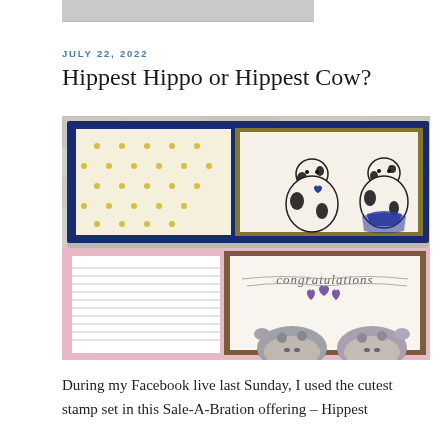[Figure (photo): Partial top photo of handmade greeting cards, cropped at top of page]
JULY 22, 2022
Hippest Hippo or Hippest Cow?
[Figure (photo): Two handmade greeting cards photographed against a stone wall background. Top card is navy blue with gold polka dot paper and two cute cow characters wearing tutus. Bottom card is pink with lined paper and a congratulations script, two hippo faces and purple hearts.]
During my Facebook live last Sunday, I used the cutest stamp set in this Sale-A-Bration offering – Hippest